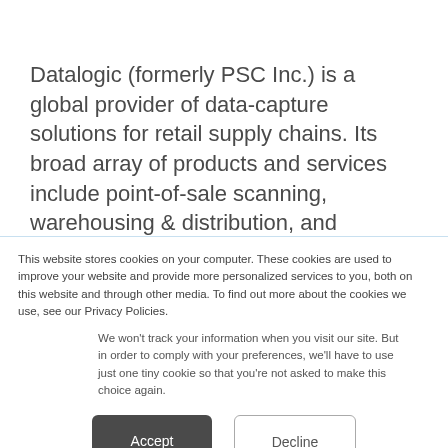Datalogic (formerly PSC Inc.) is a global provider of data-capture solutions for retail supply chains. Its broad array of products and services include point-of-sale scanning, warehousing & distribution, and wireless networking. Combined with our experts.
This website stores cookies on your computer. These cookies are used to improve your website and provide more personalized services to you, both on this website and through other media. To find out more about the cookies we use, see our Privacy Policies.
We won't track your information when you visit our site. But in order to comply with your preferences, we'll have to use just one tiny cookie so that you're not asked to make this choice again.